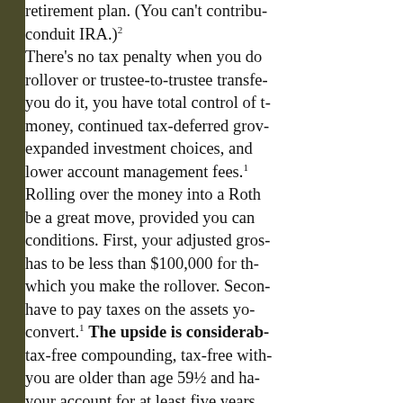retirement plan. (You can't contribute to a conduit IRA.)²
There's no tax penalty when you do a rollover or trustee-to-trustee transfer. When you do it, you have total control of the money, continued tax-deferred growth, expanded investment choices, and possibly lower account management fees.¹
Rolling over the money into a Roth IRA can be a great move, provided you can meet two conditions. First, your adjusted gross income has to be less than $100,000 for the year in which you make the rollover. Second, you have to pay taxes on the assets you convert.¹ The upside is considerable: tax-free compounding, tax-free withdrawals if you are older than age 59½ and have had your account for at least five years,